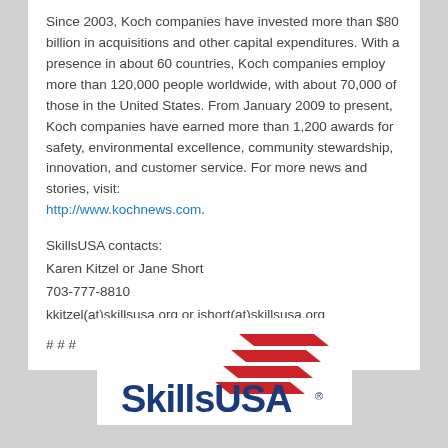Since 2003, Koch companies have invested more than $80 billion in acquisitions and other capital expenditures. With a presence in about 60 countries, Koch companies employ more than 120,000 people worldwide, with about 70,000 of those in the United States. From January 2009 to present, Koch companies have earned more than 1,200 awards for safety, environmental excellence, community stewardship, innovation, and customer service. For more news and stories, visit: http://www.kochnews.com.
SkillsUSA contacts:
Karen Kitzel or Jane Short
703-777-8810
kkitzel(at)skillsusa.org or jshort(at)skillsusa.org
# # #
[Figure (logo): SkillsUSA logo with red chevron/racing stripe graphic above blue bold text reading SkillsUSA with registered trademark symbol]